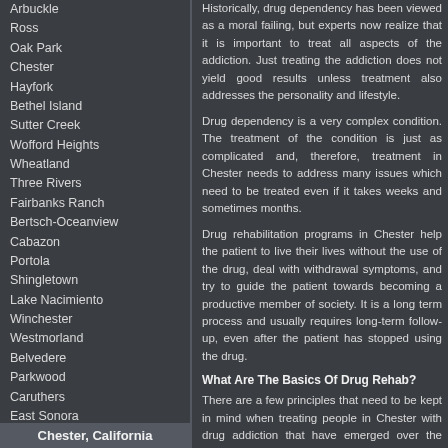Arbuckle
Ross
Oak Park
Chester
Hayfork
Bethel Island
Sutter Creek
Wofford Heights
Wheatland
Three Rivers
Fairbanks Ranch
Bertsch-Oceanview
Cabazon
Portola
Shingletown
Lake Nacimiento
Winchester
Westmorland
Belvedere
Parkwood
Caruthers
East Sonora
Loma Rica
Murphys
Auberry
Rainbow
Boron
Westwood
Easton
Moss Beach
Los Molinos
Lost Hills
Morongo Valley
Dunsmuir
Hamilton City
South Taft
Find More Results
Chester, California
Historically, drug dependency has ... realize that it is important to treat all... the addiction does not yield good ... personality and lifestyle.
Drug dependency is a very complex... just as complicated and, therefore, ... issues which need to be treated ever... sometimes months.
Drug rehabilitation programs in Ches... without the use of the drug, deal wit... patient towards becoming a produc... process and usually requires long-ter... she has stopped using the drug.
What Are The Basics Of Drug Rehab?
There are a few principles that nee... people in Chester with drug addictio... few decades. One of them has been... just not one treatment regimen tha... socioeconomic background, their ge... many other reasons. Drug rehab pro... it can be as effective as possible.... discussed is that treatment should to... addiction is not a standalone probl... individuals personality. Drug rehab t... offered to patients catered in a way t... must be available for patients at all ti... It is important to remember that one... when the patient submits to it volunt... patient starts treatment involuntarily.... this is only the first step in a long jour...
What Are The Types of Rehab?
The most common type of drug reha... professionals in Chester consider...